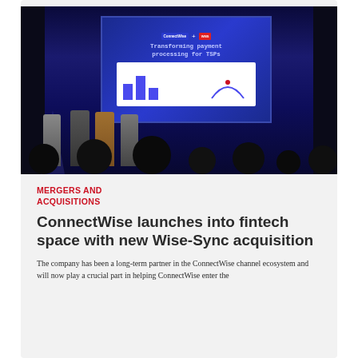[Figure (photo): Conference stage photo showing four speakers on stage in front of a large blue-lit screen displaying 'Transforming payment processing for TSPs' with ConnectWise and partner logos, audience silhouettes in foreground]
MERGERS AND ACQUISITIONS
ConnectWise launches into fintech space with new Wise-Sync acquisition
The company has been a long-term partner in the ConnectWise channel ecosystem and will now play a crucial part in helping ConnectWise enter the